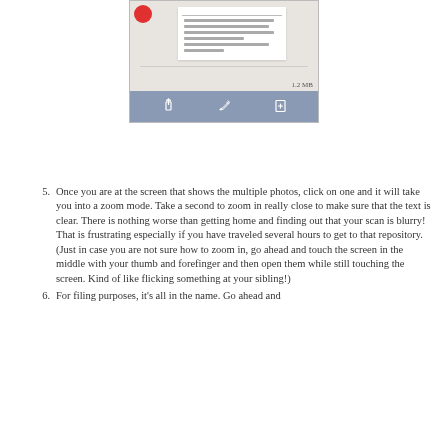[Figure (screenshot): Mobile app screenshot showing a document preview with a red dot icon in corner, a white document card with horizontal lines, file size '1.2 MB', and a toolbar with share, edit, and add-file icons on a blue-grey background.]
Once you are at the screen that shows the multiple photos, click on one and it will take you into a zoom mode. Take a second to zoom in really close to make sure that the text is clear. There is nothing worse than getting home and finding out that your scan is blurry! That is frustrating especially if you have traveled several hours to get to that repository. (Just in case you are not sure how to zoom in, go ahead and touch the screen in the middle with your thumb and forefinger and then open them while still touching the screen. Kind of like flicking something at your sibling!)
For filing purposes, it’s all in the name. Go ahead and